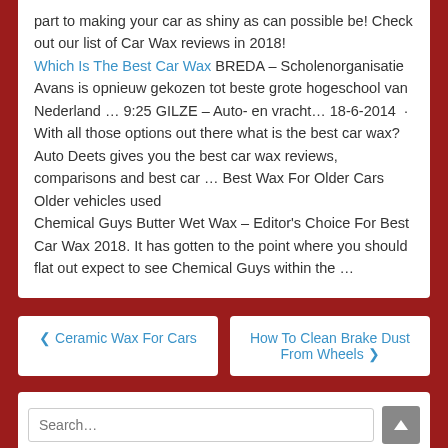part to making your car as shiny as can possible be! Check out our list of Car Wax reviews in 2018!
Which Is The Best Car Wax BREDA – Scholenorganisatie Avans is opnieuw gekozen tot beste grote hogeschool van Nederland … 9:25 GILZE – Auto- en vracht… 18-6-2014 · With all those options out there what is the best car wax? Auto Deets gives you the best car wax reviews, comparisons and best car … Best Wax For Older Cars Older vehicles used
Chemical Guys Butter Wet Wax – Editor's Choice For Best Car Wax 2018. It has gotten to the point where you should flat out expect to see Chemical Guys within the …
❮ Ceramic Wax For Cars
How To Clean Brake Dust From Wheels ❯
Search…